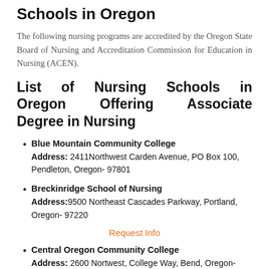Schools in Oregon
The following nursing programs are accredited by the Oregon State Board of Nursing and Accreditation Commission for Education in Nursing (ACEN).
List of Nursing Schools in Oregon Offering Associate Degree in Nursing
Blue Mountain Community College Address: 2411Northwest Carden Avenue, PO Box 100, Pendleton, Oregon- 97801
Breckinridge School of Nursing Address:9500 Northeast Cascades Parkway, Portland, Oregon- 97220
Request Info
Central Oregon Community College Address: 2600 Nortwest, College Way, Bend, Oregon- 97701